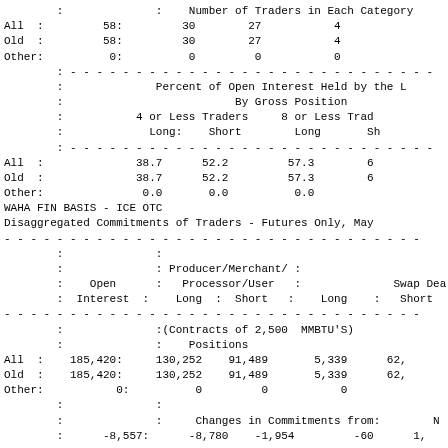|  |  | Number of Traders in Each Category |
| --- | --- | --- |
| All | : | 58: | 30 | 27 | 4 |
| Old | : | 58: | 30 | 27 | 4 |
| Other: |  | 0: | 0 | 0 | 0 |
|  | Percent of Open Interest Held by the L | By Gross Position | 4 or Less Traders | 8 or Less Trad |
| --- | --- | --- | --- | --- |
|  |  |  | Long: | Short | Long | Sh |
| All | : |  | 38.7 | 52.2 | 57.3 | 6 |
| Old | : |  | 38.7 | 52.2 | 57.3 | 6 |
| Other: |  |  | 0.0 | 0.0 | 0.0 |
WAHA FIN BASIS - ICE OTC
Disaggregated Commitments of Traders - Futures Only, May
|  | Open Interest | Producer/Merchant/Processor/User Long : Short | : | Long | : Short |
| --- | --- | --- | --- | --- | --- |
|  |  | (Contracts of 2,500  MMBTU'S) |  |  |  |
|  |  | Positions |  |  |  |
| All | : | 185,420: | 130,252 | 91,489 | 5,339 | 62, |
| Old | : | 185,420: | 130,252 | 91,489 | 5,339 | 62, |
| Other: |  | 0: | 0 | 0 | 0 |
|  |  |  | Changes in Commitments from: |  | N |
|  | : | -8,557: | -8,780 | -1,954 | -60 | 1, |